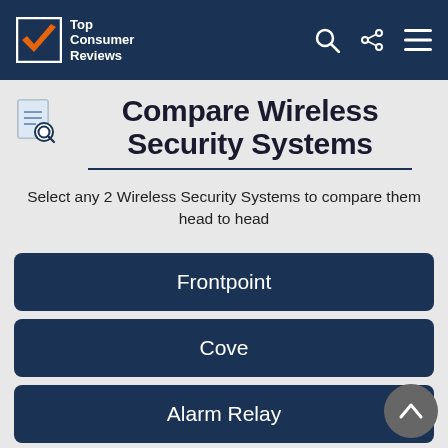Top Consumer Reviews
Compare Wireless Security Systems
Select any 2 Wireless Security Systems to compare them head to head
Frontpoint
Cove
Alarm Relay